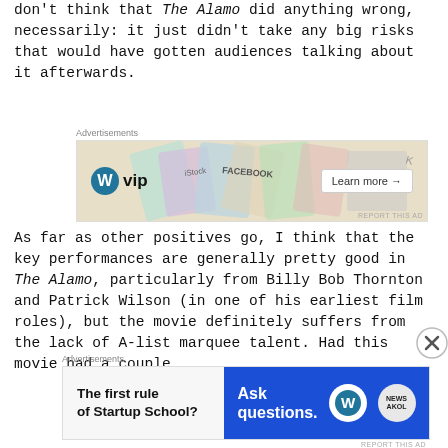don't think that The Alamo did anything wrong, necessarily: it just didn't take any big risks that would have gotten audiences talking about it afterwards.
[Figure (other): WordPress VIP advertisement banner with colorful stock/social media imagery and a Learn more button]
As far as other positives go, I think that the key performances are generally pretty good in The Alamo, particularly from Billy Bob Thornton and Patrick Wilson (in one of his earliest film roles), but the movie definitely suffers from the lack of A-list marquee talent. Had this movie had a couple
[Figure (other): WordPress Startup School advertisement banner with Ask questions text and WordPress logo]